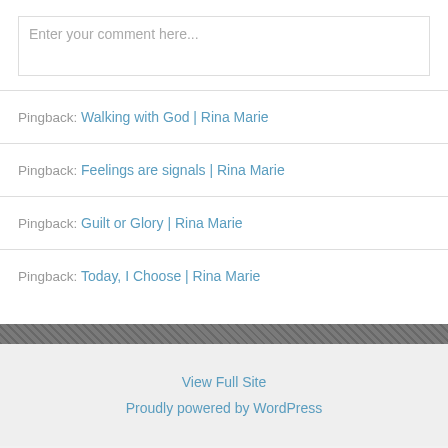Enter your comment here...
Pingback: Walking with God | Rina Marie
Pingback: Feelings are signals | Rina Marie
Pingback: Guilt or Glory | Rina Marie
Pingback: Today, I Choose | Rina Marie
View Full Site
Proudly powered by WordPress